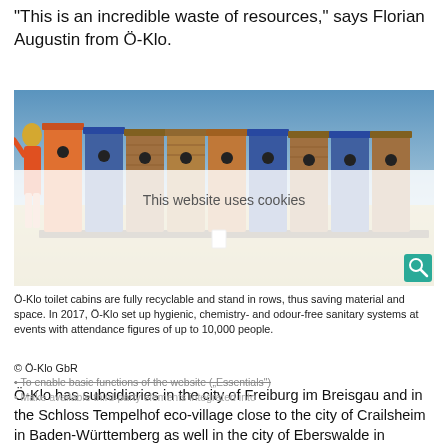"This is an incredible waste of resources," says Florian Augustin from Ö-Klo.
[Figure (photo): A row of colorful (orange, blue, brown/wood) portable toilet cabins standing outdoors on a dry grassy area. A person with blonde hair in orange clothing stands to the left, back to camera. Blue sky in background. A cookie consent overlay reading 'This website uses cookies' partially obscures the lower portion of the image. A teal magnifier icon is visible at bottom right.]
Ö-Klo toilet cabins are fully recyclable and stand in rows, thus saving material and space. In 2017, Ö-Klo set up hygienic, chemistry- and odour-free sanitary systems at events with attendance figures of up to 10,000 people.
© Ö-Klo GbR
Ö-Klo has subsidiaries in the city of Freiburg im Breisgau and in the Schloss Tempelhof eco-village close to the city of Crailsheim in Baden-Württemberg as well in the city of Eberswalde in Brandenburg where it leases and sells